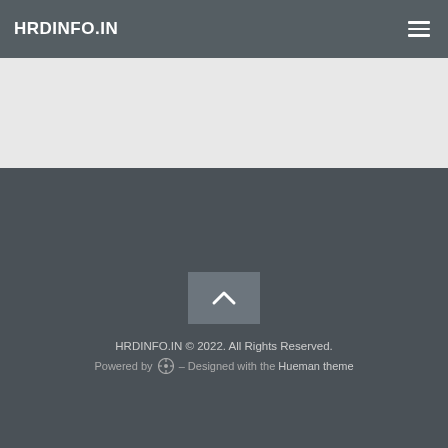HRDINFO.IN
[Figure (other): Light gray banner/advertisement area below the header navigation]
HRDINFO.IN © 2022. All Rights Reserved.
Powered by [WordPress icon] – Designed with the Hueman theme